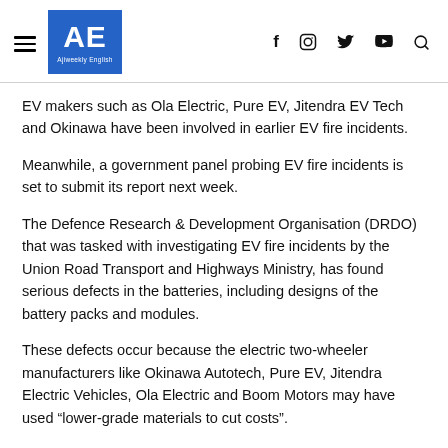AE Ajiweekly English — navigation header with social icons
EV makers such as Ola Electric, Pure EV, Jitendra EV Tech and Okinawa have been involved in earlier EV fire incidents.
Meanwhile, a government panel probing EV fire incidents is set to submit its report next week.
The Defence Research & Development Organisation (DRDO) that was tasked with investigating EV fire incidents by the Union Road Transport and Highways Ministry, has found serious defects in the batteries, including designs of the battery packs and modules.
These defects occur because the electric two-wheeler manufacturers like Okinawa Autotech, Pure EV, Jitendra Electric Vehicles, Ola Electric and Boom Motors may have used "lower-grade materials to cut costs".